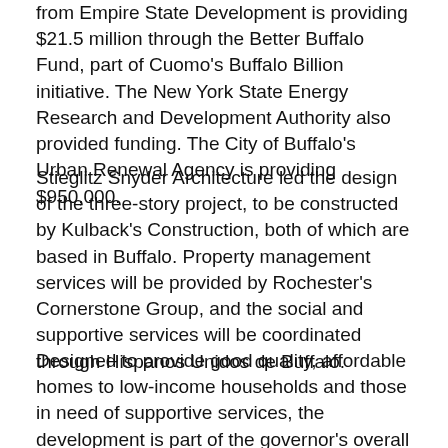from Empire State Development is providing $21.5 million through the Better Buffalo Fund, part of Cuomo's Buffalo Billion initiative. The New York State Energy Research and Development Authority also provided funding. The City of Buffalo's Urban Renewal Agency is providing $950,000.
Stieglitz Snyder Architecture led the design of the three-story project, to be constructed by Kulback's Construction, both of which are based in Buffalo. Property management services will be provided by Rochester's Cornerstone Group, and the social and supportive services will be coordinated through Hispanos Unidos de Buffalo.
Designed to provide good quality, affordable homes to low-income households and those in need of supportive services, the development is part of the governor's overall strategy to revitalize communities and grow the economy. Since 2011, New York State Homes and